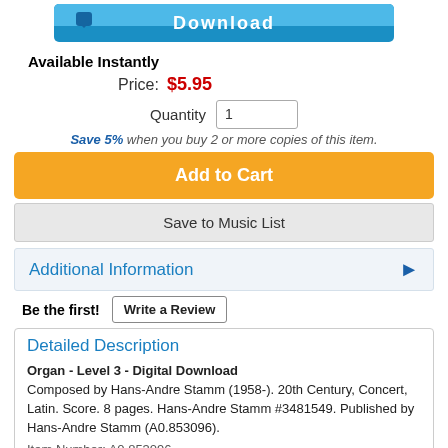[Figure (illustration): Blue Download button graphic with downward arrow icon]
Available Instantly
Price: $5.95
Quantity 1
Save 5% when you buy 2 or more copies of this item.
Add to Cart
Save to Music List
Additional Information
Be the first!  Write a Review
Detailed Description
Organ - Level 3 - Digital Download
Composed by Hans-Andre Stamm (1958-). 20th Century, Concert, Latin. Score. 8 pages. Hans-Andre Stamm #3481549. Published by Hans-Andre Stamm (A0.853096).
Item Number: A0.853096